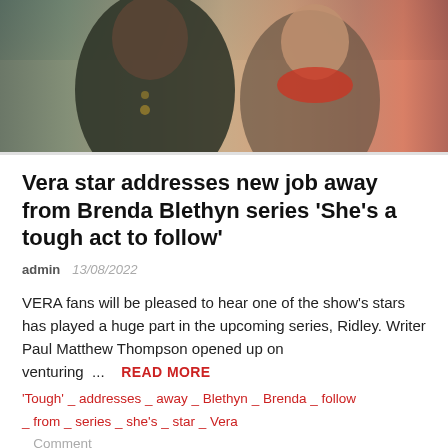[Figure (photo): Two people outdoors, one in a dark wax jacket, the other in a red plaid scarf, with sky and greenery in the background.]
Vera star addresses new job away from Brenda Blethyn series 'She's a tough act to follow'
admin   13/08/2022
VERA fans will be pleased to hear one of the show's stars has played a huge part in the upcoming series, Ridley. Writer Paul Matthew Thompson opened up on venturing ...
READ MORE
'Tough' _ addresses _ away _ Blethyn _ Brenda _ follow _ from _ series _ she's _ star _ Vera
_ Comment